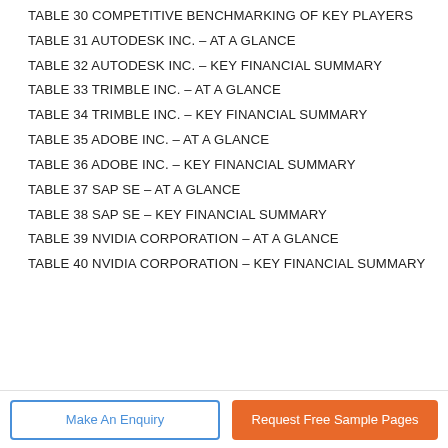TABLE 30 COMPETITIVE BENCHMARKING OF KEY PLAYERS
TABLE 31 AUTODESK INC. – AT A GLANCE
TABLE 32 AUTODESK INC. – KEY FINANCIAL SUMMARY
TABLE 33 TRIMBLE INC. – AT A GLANCE
TABLE 34 TRIMBLE INC. – KEY FINANCIAL SUMMARY
TABLE 35 ADOBE INC. – AT A GLANCE
TABLE 36 ADOBE INC. – KEY FINANCIAL SUMMARY
TABLE 37 SAP SE – AT A GLANCE
TABLE 38 SAP SE – KEY FINANCIAL SUMMARY
TABLE 39 NVIDIA CORPORATION – AT A GLANCE
TABLE 40 NVIDIA CORPORATION – KEY FINANCIAL SUMMARY